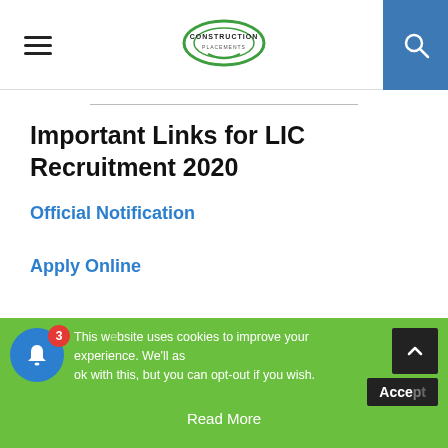Construction Placements — navigation header with hamburger menu and search button
Important Links for LIC Recruitment 2020
Official Notification
Apply Online
This website uses cookies to improve your experience. We'll assume you're ok with this, but you can opt-out if you wish. Accept  Read More